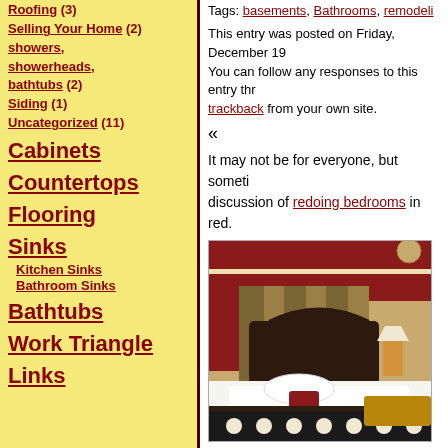Roofing (3)
Selling Your Home (2)
showers, showerheads, bathtubs (2)
Siding (1)
Uncategorized (11)
Cabinets
Countertops
Flooring
Sinks
Kitchen Sinks
Bathroom Sinks
Bathtubs
Work Triangle
Links
Tags: basements, Bathrooms, remodeling
This entry was posted on Friday, December 19. You can follow any responses to this entry through the trackback from your own site.
«
It may not be for everyone, but sometimes a discussion of redoing bedrooms in red.
[Figure (photo): A luxurious bedroom decorated in red and gold tones with a white fur bedspread, dark wood headboard with red fabric canopy, gold damask wallpaper, and a chandelier.]